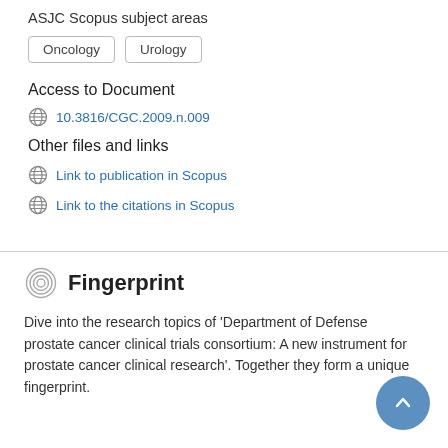ASJC Scopus subject areas
Oncology
Urology
Access to Document
10.3816/CGC.2009.n.009
Other files and links
Link to publication in Scopus
Link to the citations in Scopus
Fingerprint
Dive into the research topics of 'Department of Defense prostate cancer clinical trials consortium: A new instrument for prostate cancer clinical research'. Together they form a unique fingerprint.